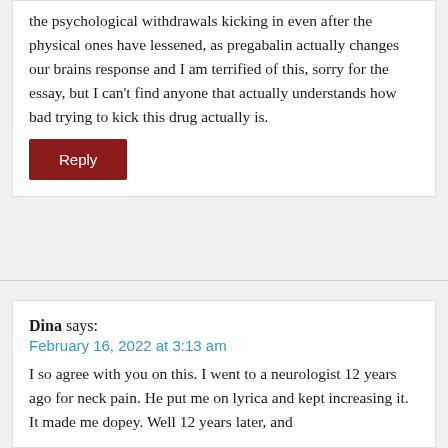the psychological withdrawals kicking in even after the physical ones have lessened, as pregabalin actually changes our brains response and I am terrified of this, sorry for the essay, but I can't find anyone that actually understands how bad trying to kick this drug actually is.
Reply
Dina says:
February 16, 2022 at 3:13 am
I so agree with you on this. I went to a neurologist 12 years ago for neck pain. He put me on lyrica and kept increasing it. It made me dopey. Well 12 years later, and